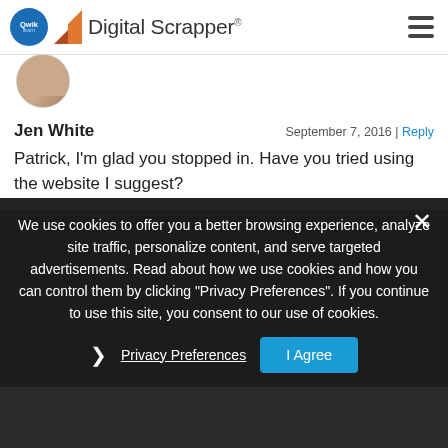Digital Scrapper
Jen White
September 7, 2016 | Reply
Patrick, I'm glad you stopped in. Have you tried using the website I suggest?
We use cookies to offer you a better browsing experience, analyze site traffic, personalize content, and serve targeted advertisements. Read about how we use cookies and how you can control them by clicking "Privacy Preferences". If you continue to use this site, you consent to our use of cookies.
Privacy Preferences
I Agree
Based on your sample word, FEMALE, I think your sample font is available at myfonts.com and also shown on this site; http://www.identif... similar?3NUM)